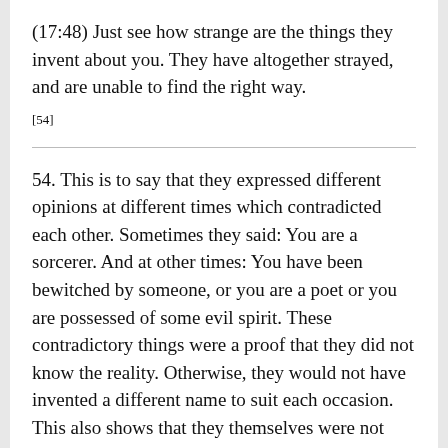(17:48) Just see how strange are the things they invent about you. They have altogether strayed, and are unable to find the right way.
[54]
54. This is to say that they expressed different opinions at different times which contradicted each other. Sometimes they said: You are a sorcerer. And at other times: You have been bewitched by someone, or you are a poet or you are possessed of some evil spirit. These contradictory things were a proof that they did not know the reality. Otherwise, they would not have invented a different name to suit each occasion. This also shows that they themselves were not